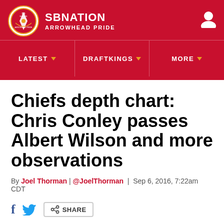SB NATION — ARROWHEAD PRIDE
Chiefs depth chart: Chris Conley passes Albert Wilson and more observations
By Joel Thorman | @JoelThorman | Sep 6, 2016, 7:22am CDT
SHARE
Listen to this article